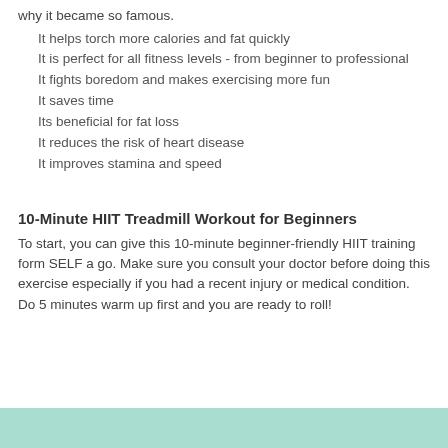why it became so famous.
It helps torch more calories and fat quickly
It is perfect for all fitness levels - from beginner to professional
It fights boredom and makes exercising more fun
It saves time
Its beneficial for fat loss
It reduces the risk of heart disease
It improves stamina and speed
10-Minute HIIT Treadmill Workout for Beginners
To start, you can give this 10-minute beginner-friendly HIIT training form SELF a go. Make sure you consult your doctor before doing this exercise especially if you had a recent injury or medical condition. Do 5 minutes warm up first and you are ready to roll!